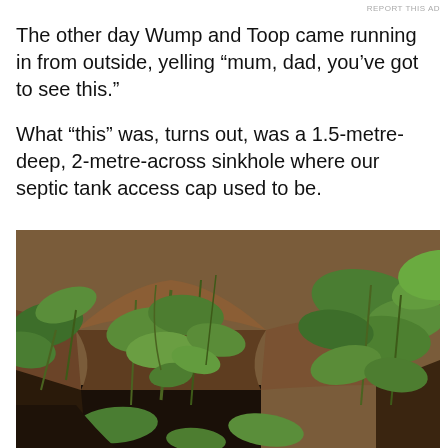REPORT THIS AD
The other day Wump and Toop came running in from outside, yelling “mum, dad, you’ve got to see this.”
What “this” was, turns out, was a 1.5-metre-deep, 2-metre-across sinkhole where our septic tank access cap used to be.
[Figure (photo): Outdoor photograph of a sinkhole surrounded by green leafy plants and vegetation. The hole is dark at the bottom, with reddish-brown soil visible. Plants with large green leaves overhang and surround the depression.]